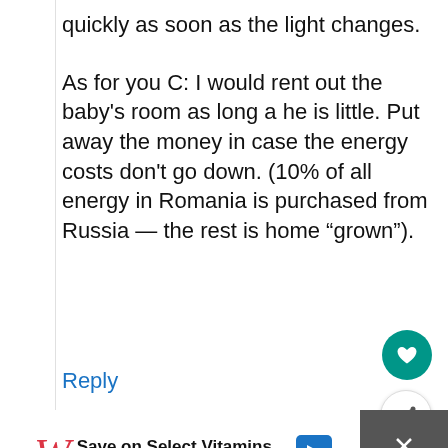quickly as soon as the light changes.
As for you C: I would rent out the baby's room as long a he is little. Put away the money in case the energy costs don't go down. (10% of all energy in Romania is purchased from Russia — the rest is home "grown").
Reply
[Figure (other): Advertisement banner for Walgreens Photo: Save on Select Vitamins]